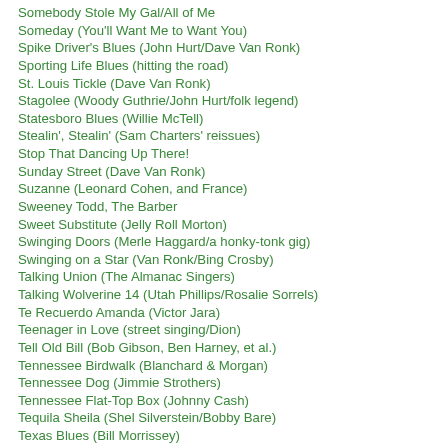Somebody Stole My Gal/All of Me
Someday (You'll Want Me to Want You)
Spike Driver's Blues (John Hurt/Dave Van Ronk)
Sporting Life Blues (hitting the road)
St. Louis Tickle (Dave Van Ronk)
Stagolee (Woody Guthrie/John Hurt/folk legend)
Statesboro Blues (Willie McTell)
Stealin', Stealin' (Sam Charters' reissues)
Stop That Dancing Up There!
Sunday Street (Dave Van Ronk)
Suzanne (Leonard Cohen, and France)
Sweeney Todd, The Barber
Sweet Substitute (Jelly Roll Morton)
Swinging Doors (Merle Haggard/a honky-tonk gig)
Swinging on a Star (Van Ronk/Bing Crosby)
Talking Union (The Almanac Singers)
Talking Wolverine 14 (Utah Phillips/Rosalie Sorrels)
Te Recuerdo Amanda (Victor Jara)
Teenager in Love (street singing/Dion)
Tell Old Bill (Bob Gibson, Ben Harney, et al.)
Tennessee Birdwalk (Blanchard & Morgan)
Tennessee Dog (Jimmie Strothers)
Tennessee Flat-Top Box (Johnny Cash)
Tequila Sheila (Shel Silverstein/Bobby Bare)
Texas Blues (Bill Morrissey)